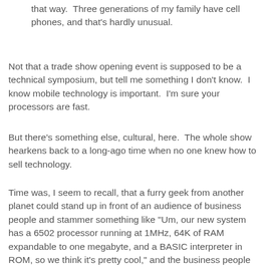that way.  Three generations of my family have cell phones, and that's hardly unusual.
Not that a trade show opening event is supposed to be a technical symposium, but tell me something I don't know.  I know mobile technology is important.  I'm sure your processors are fast.
But there's something else, cultural, here.  The whole show hearkens back to a long-ago time when no one knew how to sell technology.
Time was, I seem to recall, that a furry geek from another planet could stand up in front of an audience of business people and stammer something like "Um, our new system has a 6502 processor running at 1MHz, 64K of RAM expandable to one megabyte, and a BASIC interpreter in ROM, so we think it's pretty cool," and the business people would scratch their heads, mutter "what's a RAM?" and somehow figure out what to buy.